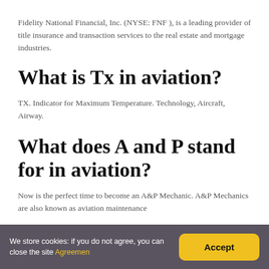Fidelity National Financial, Inc. (NYSE: FNF ), is a leading provider of title insurance and transaction services to the real estate and mortgage industries.
What is Tx in aviation?
TX. Indicator for Maximum Temperature. Technology, Aircraft, Airway.
What does A and P stand for in aviation?
Now is the perfect time to become an A&P Mechanic. A&P Mechanics are also known as aviation maintenance
We store cookies: if you do not agree, you can close the site Agreemen